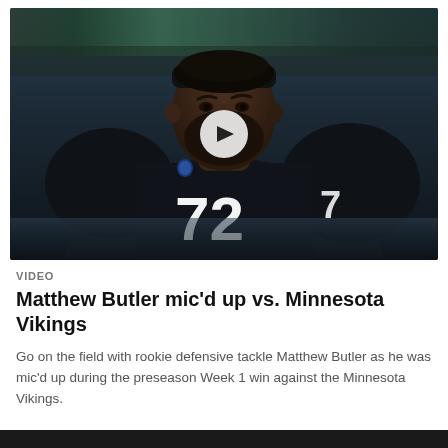[Figure (photo): An NFL player wearing a black Las Vegas Raiders jersey with number 72 and a black headband with the Raiders logo, standing on the field in a stadium. A white circular play button icon is overlaid in the center of the image, indicating this is a video thumbnail.]
VIDEO
Matthew Butler mic'd up vs. Minnesota Vikings
Go on the field with rookie defensive tackle Matthew Butler as he was mic'd up during the preseason Week 1 win against the Minnesota Vikings.